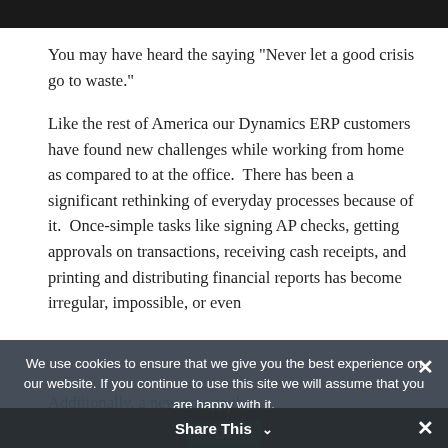[Figure (photo): Dark image bar at top of page]
You may have heard the saying “Never let a good crisis go to waste.”
Like the rest of America our Dynamics ERP customers have found new challenges while working from home as compared to at the office.  There has been a significant rethinking of everyday processes because of it.  Once-simple tasks like signing AP checks, getting approvals on transactions, receiving cash receipts, and printing and distributing financial reports has become irregular, impossible, or even
Additionally, a new
We use cookies to ensure that we give you the best experience on our website. If you continue to use this site we will assume that you are happy with it.
Share This